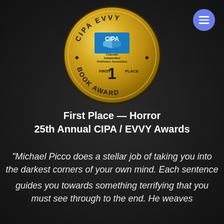[Figure (logo): CIPA EVVY Book Award gold medal badge with FIRST 1 PLACE text and Colorado Independent Publishers Association branding]
First Place — Horror
25th Annual CIPA / EVVY Awards
"Michael Picco does a stellar job of taking you into the darkest corners of your own mind. Each sentence guides you towards something terrifying that you must see through to the end. He weaves